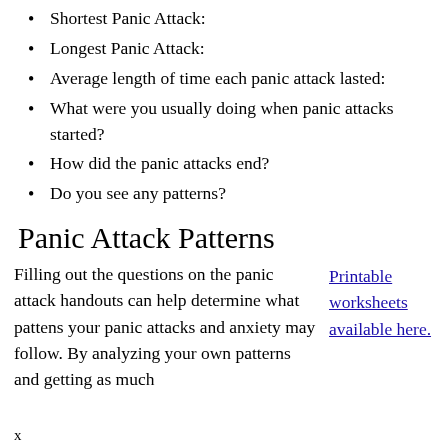Shortest Panic Attack:
Longest Panic Attack:
Average length of time each panic attack lasted:
What were you usually doing when panic attacks started?
How did the panic attacks end?
Do you see any patterns?
Panic Attack Patterns
Filling out the questions on the panic attack handouts can help determine what pattens your panic attacks and anxiety may follow. By analyzing your own patterns and getting as much
Printable worksheets available here.